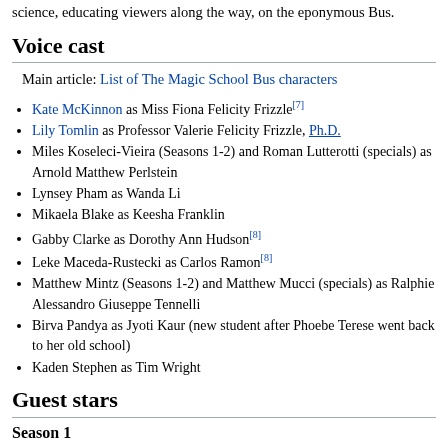science, educating viewers along the way, on the eponymous Bus.
Voice cast
Main article: List of The Magic School Bus characters
Kate McKinnon as Miss Fiona Felicity Frizzle[7]
Lily Tomlin as Professor Valerie Felicity Frizzle, Ph.D.
Miles Koseleci-Vieira (Seasons 1-2) and Roman Lutterotti (specials) as Arnold Matthew Perlstein
Lynsey Pham as Wanda Li
Mikaela Blake as Keesha Franklin
Gabby Clarke as Dorothy Ann Hudson[8]
Leke Maceda-Rustecki as Carlos Ramon[8]
Matthew Mintz (Seasons 1-2) and Matthew Mucci (specials) as Ralphie Alessandro Giuseppe Tennelli
Birva Pandya as Jyoti Kaur (new student after Phoebe Terese went back to her old school)
Kaden Stephen as Tim Wright
Guest stars
Season 1